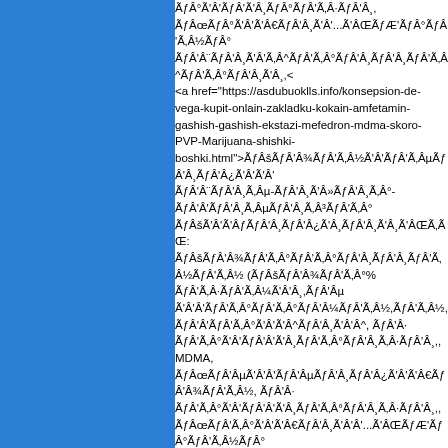ÃƒÂ°Ã'Â'ÃƒÂ'Ã'Â¸ÃƒÂ°ÃƒÂ'Ã‚Â·ÃƒÂ'Â¸,
ÃƒÂœÃƒÂ°Ã'Â'Ã'Â€ÃƒÂ'Â¸Ã'Â'...Ã'ÂŒÃƒÆ'ÃƒÂ°ÃƒÂ'Ã‚Â½ÃƒÂ°
ÃƒÂ'Â¨ÃƒÂ'Â¸Ã'Â'Ã‚Â^ÃƒÂ'Ã‚Â°ÃƒÂ'Â¸ÃƒÂ'Â¸ÃƒÂ'Ã‚Â^ÃƒÂ'Ã‚Â°ÃƒÂ'Â¸Ã'Â¸,<
<a href="https://asdubuoklls.info/konsepsion-de-vega-kupit-onlain-zakladku-kokain-amfetamin-gashish-gashish-ekstazi-mefedron-mdma-skoro-PVP-Marijuana-shishki-boshki.html">ÃƒÂšÃƒÂ'Â¾ÃƒÂ'Ã‚Â½Ã'Â'ÃƒÂ'Ã‚ÂµÃƒÂ'Â¸ÃƒÂ'Â¿Ã'Â'Ã'Â'
ÃƒÂ'Â¨ÃƒÂ'Â¸Ã‚Âµ-ÃƒÂ'Â¸Ã'Â»ÃƒÂ'Â¸Ã‚Â°-ÃƒÂ'Â'ÃƒÂ'Â¸Ã‚ÂµÃƒÂ'Â¸Ã‚Â³ÃƒÂ'Ã‚Â°
ÃƒÂšÃ'Â'Ã'ÂƒÃƒÂ'Â¸ÃƒÂ'Â¿Ã'Â¸ÃƒÂ'Â¸Ã'Â¸Ã'ÂŒÃ‚ÃŒ:
ÃƒÂšÃƒÂ'Â¾ÃƒÂ'Ã‚Â°ÃƒÂ'Ã‚Â°ÃƒÂ'Â¸ÃƒÂ'Â¸ÃƒÂ'Ã‚Â½ÃƒÂ'Ã‚Â½ (ÃƒÂšÃƒÂ'Â¾ÃƒÂ'Ã‚Â°%
ÃƒÂ'Ã‚Â·ÃƒÂ'Ã‚Â¼Ã'Â'Â¸,ÃƒÂ'Âµ Ã'Â'Â'ÃƒÂ'Ã‚Â°ÃƒÂ'Ã‚Â°ÃƒÂ'Â¼ÃƒÂ'Ã‚Â½,ÃƒÂ'Ã‚Â½,
ÃƒÂ'Â'ÃƒÂ'Ã‚Â°Ã'Â'Ã'Â^ÃƒÂ'Â¸Ã'Â'Â^, ÃƒÂ'Â·
ÃƒÂ'Ã‚Â°Ã'Â'ÃƒÂ'Â'Ã'Â¸ÃƒÂ'Ã‚Â°ÃƒÂ'Â¸Ã‚Â·ÃƒÂ'Â¸,, MDMA,
ÃƒÂœÃƒÂ'Âµ Ã'Â'Â'ÃƒÂ'ÂµÃƒÂ'Â¸ÃƒÂ'Â¿Ã'Â'Ã'Â€ÃƒÂ'Â¾ÃƒÂ'Ã‚Â½, ÃƒÂ'Â·
ÃƒÂ'Ã‚Â°Ã'Â'ÃƒÂ'Â'Ã'Â¸ÃƒÂ'Ã‚Â°ÃƒÂ'Â¸Ã‚Â·ÃƒÂ'Â¸,,
ÃƒÂœÃƒÂ'Ã‚Â°Ã'Â'Ã'Â€ÃƒÂ'Â¸Ã'Â'Â'...Ã'ÂŒÃƒÆ'ÃƒÂ°ÃƒÂ'Ã‚Â½ÃƒÂ°
ÃƒÂ'Â¨ÃƒÂ'Â¸Ã'Â'Ã‚Â'ÃƒÂ'Ã‚Â°ÃƒÂ'Â¸ÃƒÂ'Â¸ÃƒÂ'Ã‚Â^ÃƒÂ'Ã‚Â°ÃƒÂ'Â¸Ã'Â¸,<
<a href="https://ginuniowset.info/vuppertal-kupit-zakladku-ekstazi-mefedron-mdma-skorost-a-PV-Marijuana-shishki-boshki-kokain-amfetamin-gashish-gashish.html">ÃƒÂ'Â'Ã'Â€Ã'ÂƒÃƒÂ'Â¸ÃƒÂ'Â¿Ã'Â¸ÃƒÂ'ÂµÃ'Â'Â€Ã'Â'
ÃƒÂšÃ'Â'Ã'ÂƒÃƒÂ'Â¸ÃƒÂ'Â¿Ã'Â¸ÃƒÂ'Â¸Ã'Â¸Ã'ÂŒÃ‚ÃŒ:
ÃƒÂšÃƒÂ'Â¾ÃƒÂ'Ã‚Â°ÃƒÂ'Ã‚Â°ÃƒÂ'Â¸ÃƒÂ'Â¸ÃƒÂ'Ã‚Â½ÃƒÂ'Ã‚Â½ (ÃƒÂšÃƒÂ'Â¾ÃƒÂ'Ã‚Â°%
ÃƒÂ'Ã‚Â·ÃƒÂ'Ã‚Â¼Ã'Â'Â¸,ÃƒÂ'Âµ Ã'Â'Â'ÃƒÂ'ÂµÃƒÂ'Ã‚Â°ÃƒÂ'Â¼ÃƒÂ'Â¸, ÃƒÂ'Ã‚Â½,